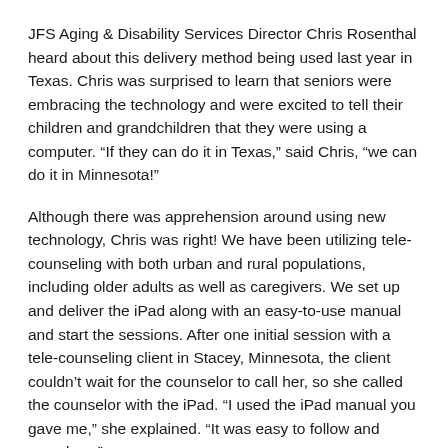JFS Aging & Disability Services Director Chris Rosenthal heard about this delivery method being used last year in Texas. Chris was surprised to learn that seniors were embracing the technology and were excited to tell their children and grandchildren that they were using a computer. "If they can do it in Texas," said Chris, "we can do it in Minnesota!"
Although there was apprehension around using new technology, Chris was right! We have been utilizing tele-counseling with both urban and rural populations, including older adults as well as caregivers. We set up and deliver the iPad along with an easy-to-use manual and start the sessions. After one initial session with a tele-counseling client in Stacey, Minnesota, the client couldn't wait for the counselor to call her, so she called the counselor with the iPad. "I used the iPad manual you gave me," she explained. "It was easy to follow and seamless."
Another client said, "I am so grateful for tele-counseling. I live in rural Minnesota and I don't have many people in my home. I feel safer having this ability to access help without having to go too far